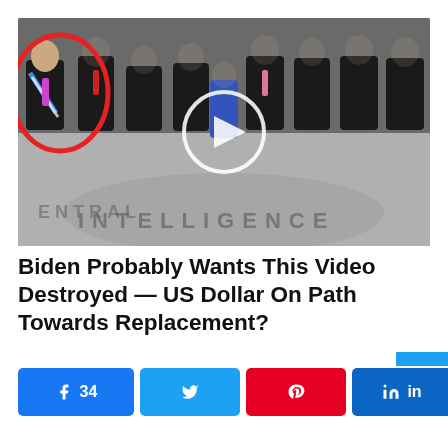[Figure (photo): A group of men in suits standing in the CIA headquarters lobby (visible CIA seal on floor). One man on the left is highlighted with a red circle overlay. Faces are blurred. A video play button is overlaid in the center of the image.]
Biden Probably Wants This Video Destroyed — US Dollar On Path Towards Replacement?
34 shares — Facebook 34, Twitter share, Pinterest share, LinkedIn share